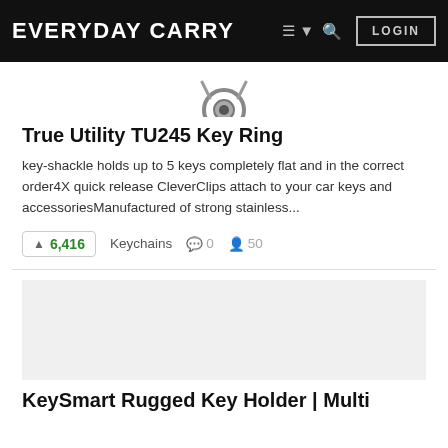EVERYDAY CARRY — LOGIN
[Figure (photo): Partial view of a key ring product image at top of listing]
True Utility TU245 Key Ring
key-shackle holds up to 5 keys completely flat and in the correct order4X quick release CleverClips attach to your car keys and accessoriesManufactured of strong stainless...
▲ 6,416   Keychains   💬 0   👤 50
[Figure (photo): Product image area for second listing (KeySmart Rugged Key Holder)]
KeySmart Rugged Key Holder | Multi